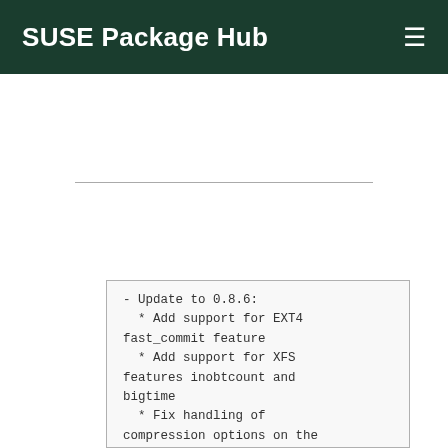SUSE Package Hub
- Update to 0.8.6:
  * Add support for EXT4 fast_commit feature
  * Add support for XFS features inobtcount and bigtime
  * Fix handling of compression options on the command line
  * Clarify in man the ...